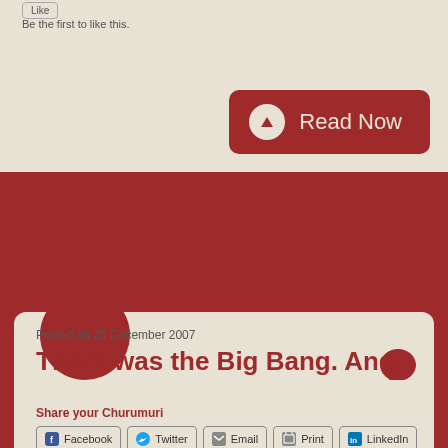Be the first to like this.
[Figure (illustration): Read Now button with dark red background and up arrow icon]
Posted on 25 December 2007
There was the Big Bang. And, lo, there was India
One of the most delightful parts of the BBC radio and TV show Good Gracious Me was the sketch that parodied the belief (dearly held by Indians, especially those abroad) ...
Share your Churumuri
Facebook
Twitter
Email
Print
LinkedIn